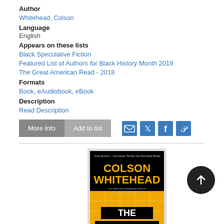Author
Whitehead, Colson
Language
English
Appears on these lists
Black Speculative Fiction
Featured List of Authors for Black History Month 2019
The Great American Read - 2018
Formats
Book, eAudiobook, eBook
Description
Read Description
[Figure (screenshot): Buttons: More Info, Add to list, and social sharing icons for email, Twitter, Facebook, Pinterest]
[Figure (photo): Book cover for 'The Colossus of New York' by Colson Whitehead. Black background with author name in yellow/orange and book title in white on black bars over a yellow grid/map design.]